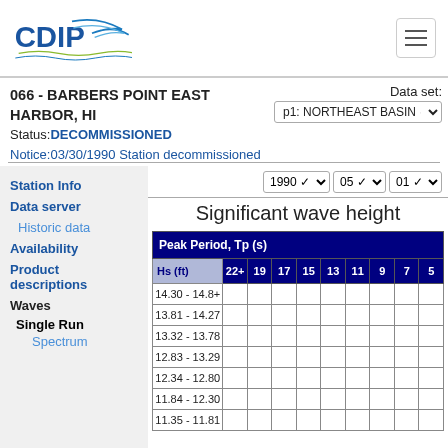CDIP - Coastal Data Information Program
066 - BARBERS POINT EAST HARBOR, HI
Status: DECOMMISSIONED
Notice:03/30/1990 Station decommissioned
Data set: p1: NORTHEAST BASIN
Station Info
Data server
Historic data
Availability
Product descriptions
Waves
Single Run
Spectrum
1990  05  01
Significant wave height
| Peak Period, Tp (s) | Hs (ft) | 22+ | 19 | 17 | 15 | 13 | 11 | 9 | 7 | 5 |
| --- | --- | --- | --- | --- | --- | --- | --- | --- | --- | --- |
| 14.30 - 14.8+ |  |  |  |  |  |  |  |  |  |
| 13.81 - 14.27 |  |  |  |  |  |  |  |  |  |
| 13.32 - 13.78 |  |  |  |  |  |  |  |  |  |
| 12.83 - 13.29 |  |  |  |  |  |  |  |  |  |
| 12.34 - 12.80 |  |  |  |  |  |  |  |  |  |
| 11.84 - 12.30 |  |  |  |  |  |  |  |  |  |
| 11.35 - 11.81 |  |  |  |  |  |  |  |  |  |